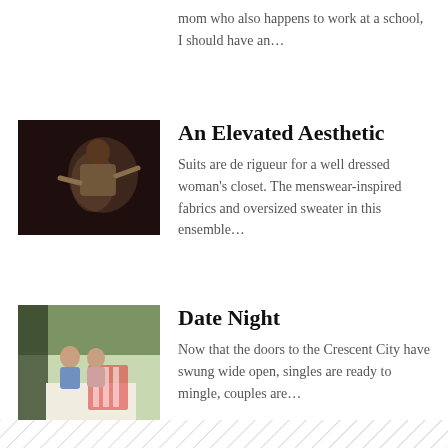mom who also happens to work at a school, I should have an…
[Figure (photo): Person posing dramatically in menswear-inspired outfit against dark background]
An Elevated Aesthetic
Suits are de rigueur for a well dressed woman's closet. The menswear-inspired fabrics and oversized sweater in this ensemble…
[Figure (photo): Couple sitting at outdoor cafe table with red and white striped chairs, greenery in background]
Date Night
Now that the doors to the Crescent City have swung wide open, singles are ready to mingle, couples are…